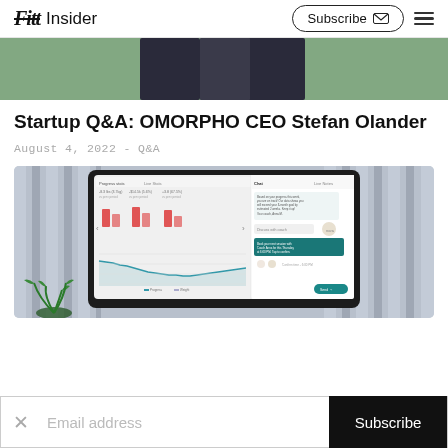Fitt Insider | Subscribe
[Figure (photo): Cropped top portion of a person in athletic wear outdoors, green background]
Startup Q&A: OMORPHO CEO Stefan Olander
August 4, 2022 - Q&A
[Figure (screenshot): Screenshot of a monitor displaying a fitness/health analytics dashboard with bar charts, a line chart trending downward, and a chat/messaging panel on the right side. A plant is visible in the foreground.]
Email address
Subscribe